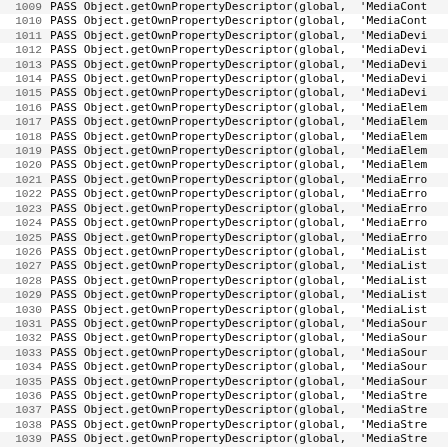1009 PASS Object.getOwnPropertyDescriptor(global, 'MediaCont
1010 PASS Object.getOwnPropertyDescriptor(global, 'MediaCont
1011 PASS Object.getOwnPropertyDescriptor(global, 'MediaDevi
1012 PASS Object.getOwnPropertyDescriptor(global, 'MediaDevi
1013 PASS Object.getOwnPropertyDescriptor(global, 'MediaDevi
1014 PASS Object.getOwnPropertyDescriptor(global, 'MediaDevi
1015 PASS Object.getOwnPropertyDescriptor(global, 'MediaDevi
1016 PASS Object.getOwnPropertyDescriptor(global, 'MediaElem
1017 PASS Object.getOwnPropertyDescriptor(global, 'MediaElem
1018 PASS Object.getOwnPropertyDescriptor(global, 'MediaElem
1019 PASS Object.getOwnPropertyDescriptor(global, 'MediaElem
1020 PASS Object.getOwnPropertyDescriptor(global, 'MediaElem
1021 PASS Object.getOwnPropertyDescriptor(global, 'MediaErro
1022 PASS Object.getOwnPropertyDescriptor(global, 'MediaErro
1023 PASS Object.getOwnPropertyDescriptor(global, 'MediaErro
1024 PASS Object.getOwnPropertyDescriptor(global, 'MediaErro
1025 PASS Object.getOwnPropertyDescriptor(global, 'MediaErro
1026 PASS Object.getOwnPropertyDescriptor(global, 'MediaList
1027 PASS Object.getOwnPropertyDescriptor(global, 'MediaList
1028 PASS Object.getOwnPropertyDescriptor(global, 'MediaList
1029 PASS Object.getOwnPropertyDescriptor(global, 'MediaList
1030 PASS Object.getOwnPropertyDescriptor(global, 'MediaList
1031 PASS Object.getOwnPropertyDescriptor(global, 'MediaSour
1032 PASS Object.getOwnPropertyDescriptor(global, 'MediaSour
1033 PASS Object.getOwnPropertyDescriptor(global, 'MediaSour
1034 PASS Object.getOwnPropertyDescriptor(global, 'MediaSour
1035 PASS Object.getOwnPropertyDescriptor(global, 'MediaSour
1036 PASS Object.getOwnPropertyDescriptor(global, 'MediaStre
1037 PASS Object.getOwnPropertyDescriptor(global, 'MediaStre
1038 PASS Object.getOwnPropertyDescriptor(global, 'MediaStre
1039 PASS Object.getOwnPropertyDescriptor(global, 'MediaStre
1040 PASS Object.getOwnPropertyDescriptor(global, 'MediaStre
1041 PASS Object.getOwnPropertyDescriptor(global, 'MediaStr